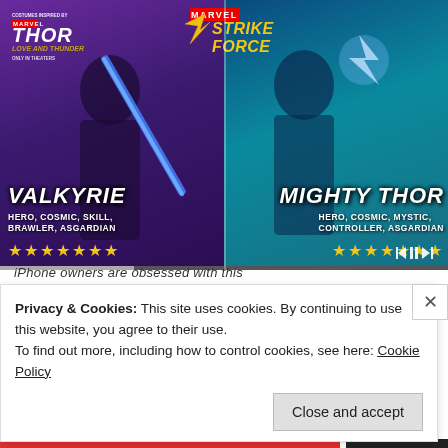[Figure (screenshot): Marvel Strike Force game screenshot showing Valkyrie and Mighty Thor characters. Left half shows Valkyrie (Hero, Cosmic, Skill, Brawler, Asgardian) with 7 gold stars. Right half shows Mighty Thor (Hero, Cosmic, Mystic, Controller, Asgardian) with 7 gold stars. 'Thor Love and Thunder' logo top left, 'Marvel Strike Force' logo top center.]
iPhone owners are obsessed with this
Privacy & Cookies: This site uses cookies. By continuing to use this website, you agree to their use.
To find out more, including how to control cookies, see here: Cookie Policy
Close and accept